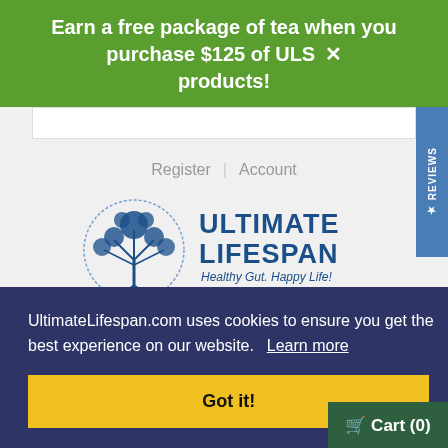Earn a free package of tea when you purchase $125 of ULS products!
Register | Account
[Figure (logo): Ultimate Lifespan logo with tree in circle and text 'ULTIMATE LIFESPAN Healthy Gut. Happy Life!']
UltimateLifespan.com uses cookies to ensure you get the best experience on our website. Learn more
Got it!
ents have ts are not
Cart (0)